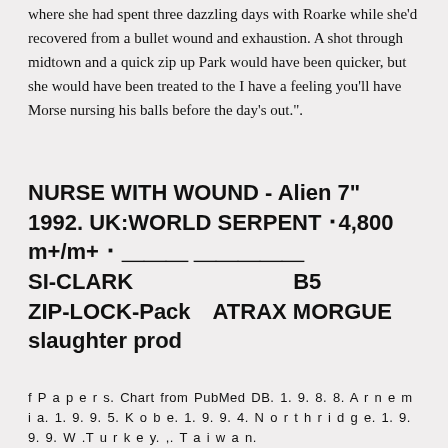where she had spent three dazzling days with Roarke while she'd recovered from a bullet wound and exhaustion. A shot through midtown and a quick zip up Park would have been quicker, but she would have been treated to the I have a feeling you'll have Morse nursing his balls before the day's out.".
NURSE WITH WOUND - Alien 7" 1992. UK:WORLD SERPENT ¥4,800 m+/m+ ¥ ??? ?????????????????????SI-CLARK???? ???B5???ZIP-LOCK-Pack?ATRAX MORGUE?slaughter prod???????
f P a p e r s. Chart from PubMed DB. 1. 9. 8. 8. A r n e m i a. 1. 9. 9. 5. K o b e. 1. 9. 9. 4. N o r t h r i d g e. 1. 9. 9. 9. W .T u r k e y. ,. T a i w a n. 8 t o ...